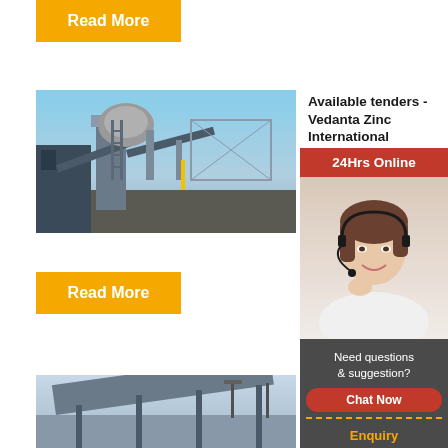Read More
[Figure (photo): Industrial machinery/mining equipment at a facility, outdoor shot with blue sky]
Available tenders - Vedanta Zinc International
2021-11-1...
Read More
[Figure (photo): Mining conveyor belt structure, outdoor shot]
Zinc Or... Trade M...
[Figure (photo): Customer service representative with headset - 24Hrs Online sidebar ad]
24Hrs Online
Need questions & suggestion?
Chat Now
Enquiry
limingjlmofen